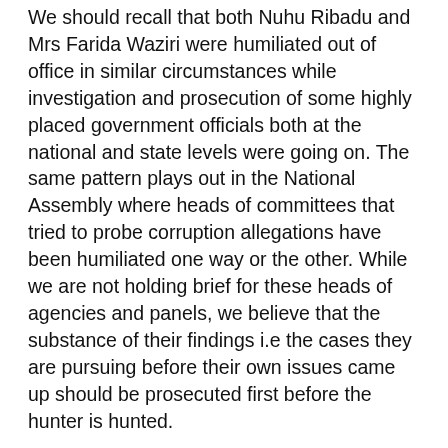We should recall that both Nuhu Ribadu and Mrs Farida Waziri were humiliated out of office in similar circumstances while investigation and prosecution of some highly placed government officials both at the national and state levels were going on. The same pattern plays out in the National Assembly where heads of committees that tried to probe corruption allegations have been humiliated one way or the other. While we are not holding brief for these heads of agencies and panels, we believe that the substance of their findings i.e the cases they are pursuing before their own issues came up should be prosecuted first before the hunter is hunted.
“If in the course of doing their statutory duties, they are accused of wrong doings, they should be made to complete the assignments they are handling, get to a logical conclusion before they are prosecuted or made to quit the office because quitting the office abruptly will be more of advantage to the accused persons than to the